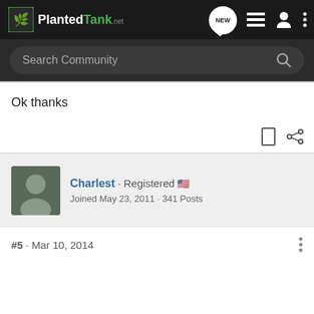PlantedTank — Search Community
Ok thanks
Charlest · Registered
Joined May 23, 2011 · 341 Posts
#5 · Mar 10, 2014